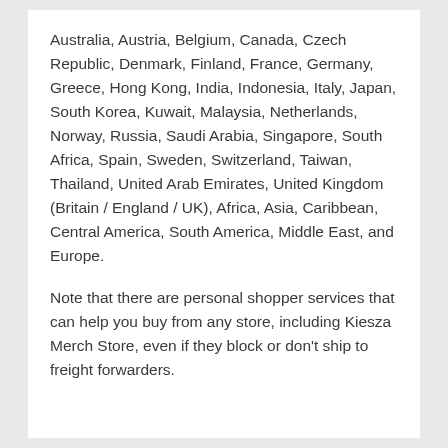Australia, Austria, Belgium, Canada, Czech Republic, Denmark, Finland, France, Germany, Greece, Hong Kong, India, Indonesia, Italy, Japan, South Korea, Kuwait, Malaysia, Netherlands, Norway, Russia, Saudi Arabia, Singapore, South Africa, Spain, Sweden, Switzerland, Taiwan, Thailand, United Arab Emirates, United Kingdom (Britain / England / UK), Africa, Asia, Caribbean, Central America, South America, Middle East, and Europe.
Note that there are personal shopper services that can help you buy from any store, including Kiesza Merch Store, even if they block or don't ship to freight forwarders.